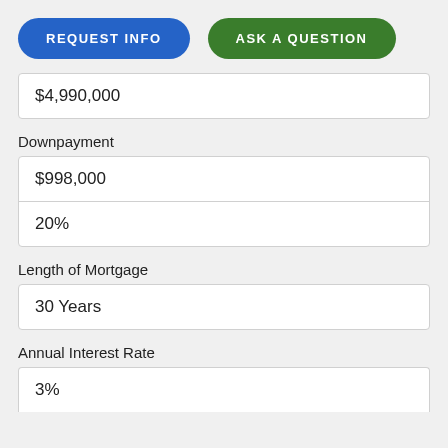[Figure (other): Two pill-shaped buttons: blue 'REQUEST INFO' and green 'ASK A QUESTION']
$4,990,000
Downpayment
$998,000
20%
Length of Mortgage
30 Years
Annual Interest Rate
3%